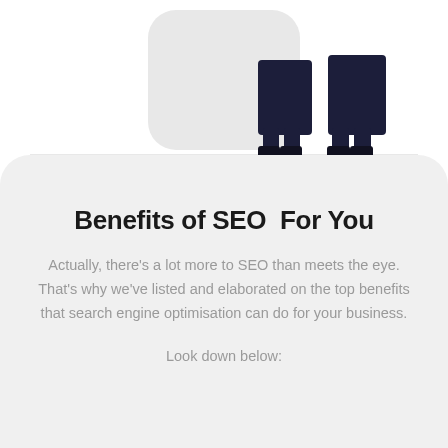[Figure (illustration): Partial illustration showing lower body of two figures standing, with dark navy clothing and boots, one appears to be holding or near a large rounded white object. A thin horizontal line separates them from the background.]
Benefits of SEO  For You
Actually, there’s a lot more to SEO than meets the eye. That’s why we’ve listed and elaborated on the top benefits that search engine optimisation can do for your business.
Look down below: